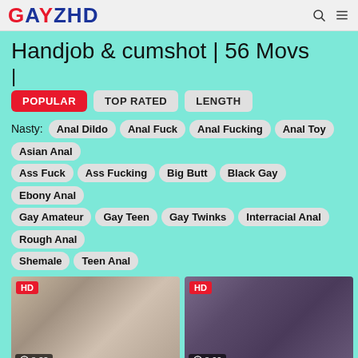GAYZHD
Handjob & cumshot | 56 Movs
|
POPULAR
TOP RATED
LENGTH
Nasty: Anal Dildo  Anal Fuck  Anal Fucking  Anal Toy  Asian Anal  Ass Fuck  Ass Fucking  Big Butt  Black Gay  Ebony Anal  Gay Amateur  Gay Teen  Gay Twinks  Interracial Anal  Rough Anal  Shemale  Teen Anal
[Figure (photo): Video thumbnail showing close-up with HD badge and duration 8:33]
[Figure (photo): Video thumbnail showing man in blue shirt with HD badge and duration 8:00]